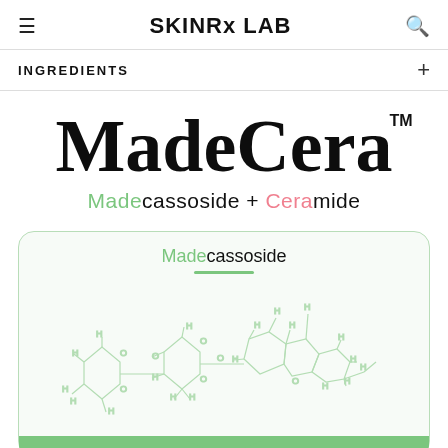SKINRx LAB
INGREDIENTS
MadeCera™
Madecassoside + Ceramide
[Figure (illustration): Madecassoside chemical structure diagram with molecule bonds, hexagonal rings, H atoms, and O atoms labeled, shown in light green on a light green-tinted card with rounded corners and a green bottom tab/arrow pointing downward.]